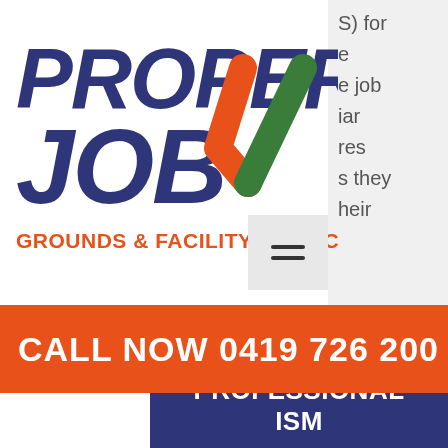[Figure (logo): Proper Job Grounds & Facility Services logo with bold navy blue text and a checkmark with orange and green colors]
S) for
e
e job
iar
res
s they
heir
CALL NOW 0419 726 200
PROFESSIONALISM
we foster a culture that values equal opportunity and accountability for all the servives we provide and work we do
EXCELLENCE
we strive to perform at the highest level of competence in whatever job we